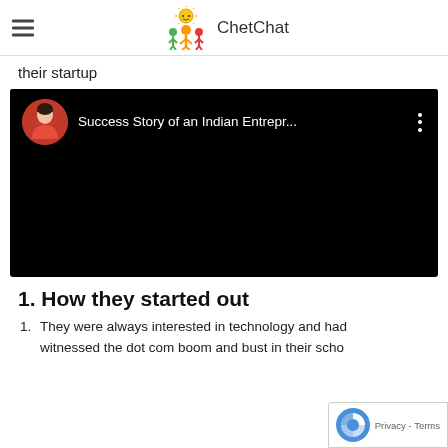ChetChat
their startup
[Figure (screenshot): YouTube video embed showing 'Success Story of an Indian Entrepr...' with a woman in red top as thumbnail avatar on black background]
1. How they started out
They were always interested in technology and had witnessed the dot com boom and bust in their scho